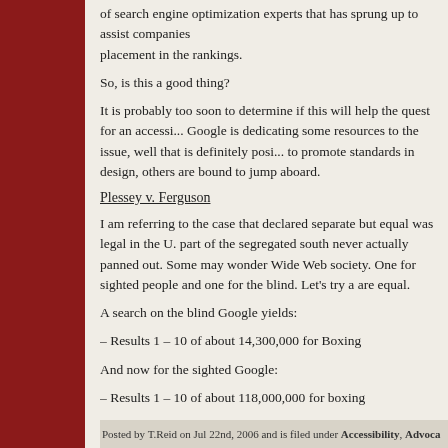of search engine optimization experts that has sprung up to assist companies placement in the rankings.
So, is this a good thing?
It is probably too soon to determine if this will help the quest for an accessible web. Google is dedicating some resources to the issue, well that is definitely positive. If Google is to promote standards in design, others are bound to jump aboard.
Plessey v. Ferguson
I am referring to the case that declared separate but equal was legal in the U.S. The equal part of the segregated south never actually panned out. Some may wonder if we are building a World Wide Web society. One for sighted people and one for the blind. Let's try and make sure they are equal.
A search on the blind Google yields:
– Results 1 – 10 of about 14,300,000 for Boxing
And now for the sighted Google:
– Results 1 – 10 of about 118,000,000 for boxing
Wow, that's a lot of inaccessibility!
Share this:
Share
Posted by T.Reid on Jul 22nd, 2006 and is filed under Accessibility, Advocacy